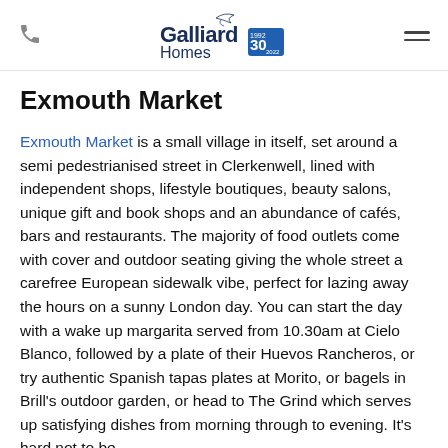[Galliard Homes 30th anniversary logo, phone icon, menu icon]
Exmouth Market
Exmouth Market is a small village in itself, set around a semi pedestrianised street in Clerkenwell, lined with independent shops, lifestyle boutiques, beauty salons, unique gift and book shops and an abundance of cafés, bars and restaurants. The majority of food outlets come with cover and outdoor seating giving the whole street a carefree European sidewalk vibe, perfect for lazing away the hours on a sunny London day. You can start the day with a wake up margarita served from 10.30am at Cielo Blanco, followed by a plate of their Huevos Rancheros, or try authentic Spanish tapas plates at Morito, or bagels in Brill's outdoor garden, or head to The Grind which serves up satisfying dishes from morning through to evening. It's hard not to be